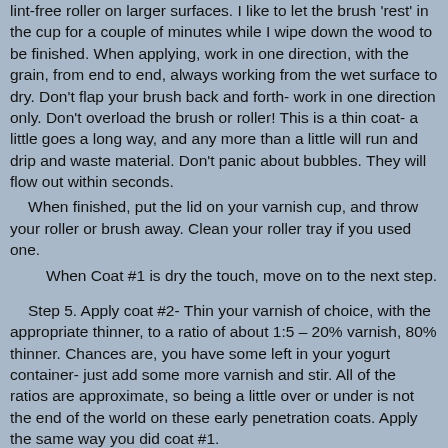lint-free roller on larger surfaces.  I like to let the brush 'rest' in the cup for a couple of minutes while I wipe down the wood to be finished.   When applying, work in one direction, with the grain, from end to end, always working from the wet surface to dry.  Don't flap your brush back and forth- work in one direction only. Don't overload the brush or roller!  This  is a thin coat- a little goes a long way, and any more than a little will run and drip and waste material.  Don't panic about bubbles.  They will flow out within seconds.
  When finished, put the lid on your varnish cup, and throw your roller or brush away.  Clean your roller tray if you used one.
     When Coat #1  is dry the touch, move on to the next step.

 Step 5. Apply coat #2- Thin your varnish of choice, with the appropriate thinner, to a ratio of about 1:5 – 20% varnish, 80% thinner.  Chances are, you have some left in your yogurt container- just add some more varnish and stir.  All of the ratios are approximate, so being a little over or under is not the end of the world on these early penetration coats.  Apply the same way you did coat #1.

Step 6. Sand.  Using a sanding block, sanding board, or power sander, sand the surface with 220 grit.  Time-saving Pro Tip: Load your sander of choice with multiple sheets of paper.  As a